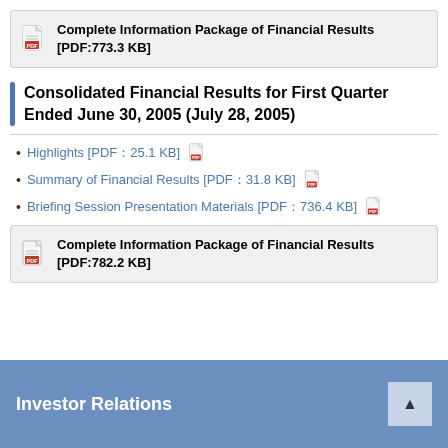Complete Information Package of Financial Results [PDF:773.3 KB]
Consolidated Financial Results for First Quarter Ended June 30, 2005 (July 28, 2005)
Highlights [PDF:25.1 KB]
Summary of Financial Results [PDF:31.8 KB]
Briefing Session Presentation Materials [PDF:736.4 KB]
Complete Information Package of Financial Results [PDF:782.2 KB]
Investor Relations